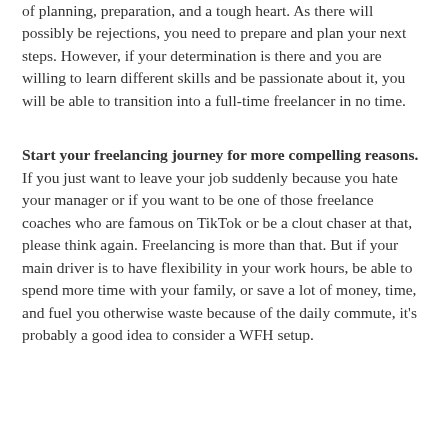of planning, preparation, and a tough heart. As there will possibly be rejections, you need to prepare and plan your next steps. However, if your determination is there and you are willing to learn different skills and be passionate about it, you will be able to transition into a full-time freelancer in no time.
Start your freelancing journey for more compelling reasons. If you just want to leave your job suddenly because you hate your manager or if you want to be one of those freelance coaches who are famous on TikTok or be a clout chaser at that, please think again. Freelancing is more than that. But if your main driver is to have flexibility in your work hours, be able to spend more time with your family, or save a lot of money, time, and fuel you otherwise waste because of the daily commute, it's probably a good idea to consider a WFH setup.